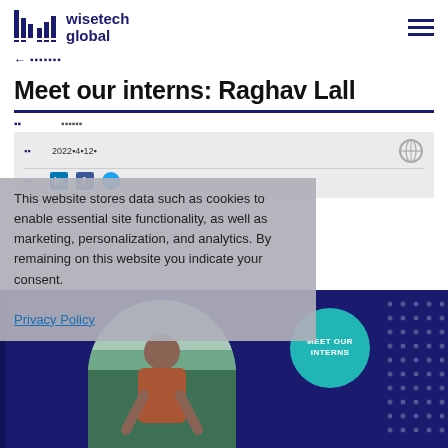WiseTech Global
← ▪▪▪▪▪▪▪
Meet our interns: Raghav Lall
▪▪ ▪▪▪▪▪▪
▪▪ 2022▪4▪12▪
▪▪ [social share icons]
This website stores data such as cookies to enable essential site functionality, as well as marketing, personalization, and analytics. By remaining on this website you indicate your consent.
Privacy Policy
[Figure (photo): Intern photo of Raghav Lall against outdoor background, with MEET OUR INTERNS teal badge circle overlay, on dark navy background with dot grid pattern]